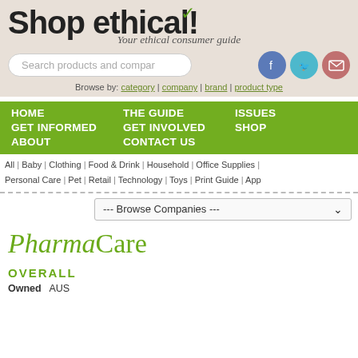Shop ethical! Your ethical consumer guide
[Figure (screenshot): Search box with text 'Search products and companies']
Browse by: category | company | brand | product type
HOME   THE GUIDE   ISSUES   GET INFORMED   GET INVOLVED   SHOP   ABOUT   CONTACT US
All | Baby | Clothing | Food & Drink | Household | Office Supplies | Personal Care | Pet | Retail | Technology | Toys | Print Guide | App
--- Browse Companies ---
PharmaCare
OVERALL
Owned   AUS